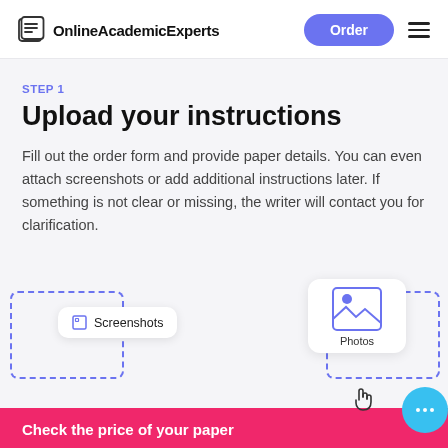OnlineAcademicExperts
STEP 1
Upload your instructions
Fill out the order form and provide paper details. You can even attach screenshots or add additional instructions later. If something is not clear or missing, the writer will contact you for clarification.
[Figure (illustration): UI illustration showing Screenshots badge with dashed selection box and Photos card with mountain image icon and a hand cursor, plus a chat bubble on the right]
Check the price of your paper